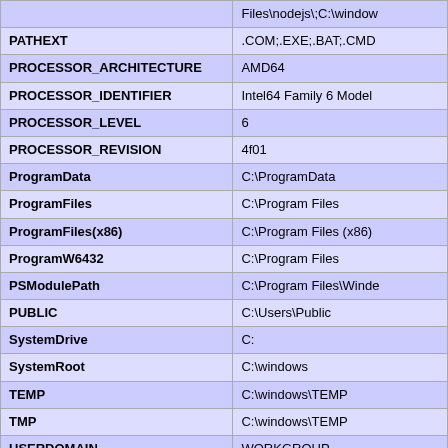| Variable | Value |
| --- | --- |
|  | Files\nodejs\;C:\window |
| PATHEXT | .COM;.EXE;.BAT;.CMD |
| PROCESSOR_ARCHITECTURE | AMD64 |
| PROCESSOR_IDENTIFIER | Intel64 Family 6 Model |
| PROCESSOR_LEVEL | 6 |
| PROCESSOR_REVISION | 4f01 |
| ProgramData | C:\ProgramData |
| ProgramFiles | C:\Program Files |
| ProgramFiles(x86) | C:\Program Files (x86) |
| ProgramW6432 | C:\Program Files |
| PSModulePath | C:\Program Files\Winde |
| PUBLIC | C:\Users\Public |
| SystemDrive | C: |
| SystemRoot | C:\windows |
| TEMP | C:\windows\TEMP |
| TMP | C:\windows\TEMP |
| USERDOMAIN | WORKGROUP |
| USERNAME | burr-main-azure$ |
| USERPROFILE | C:\windows\system32\c |
| windir | C:\windows |